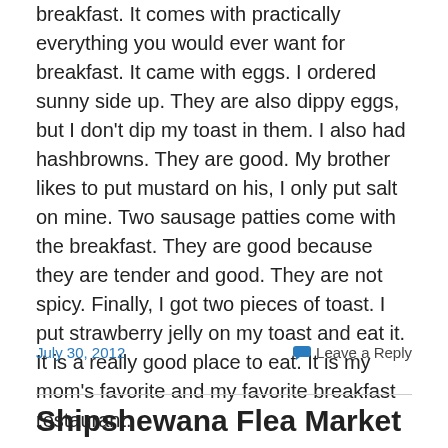breakfast.  It comes with practically everything you would ever want for breakfast.  It came with eggs.  I ordered sunny side up.  They are also dippy eggs, but I don't dip my toast in them.  I also had hashbrowns.  They are good.  My brother likes to put mustard on his, I only put salt on mine.  Two sausage patties come with the breakfast.  They are good because they are tender and good.  They are not spicy.  Finally, I got two pieces of toast.  I put strawberry jelly on my toast and eat it.  It is a really good place to eat.  It is my mom's favorite and my favorite breakfast restaurant.
July 30, 2012
Leave a Reply
Shipshewana Flea Market —